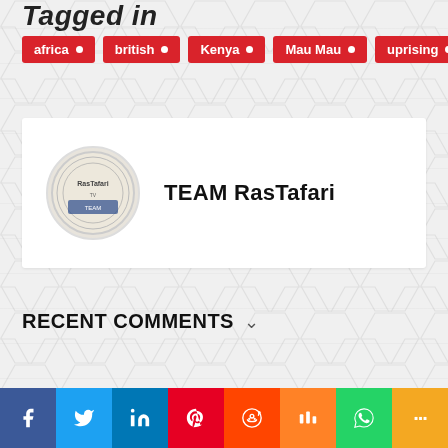Tagged in
africa
british
Kenya
Mau Mau
uprising
[Figure (logo): TEAM RasTafari logo - circular seal/coin style logo with text RasTafari]
TEAM RasTafari
RECENT COMMENTS
[Figure (infographic): Social media sharing bar with Facebook, Twitter, LinkedIn, Pinterest, Reddit, Mix, WhatsApp, and More buttons]